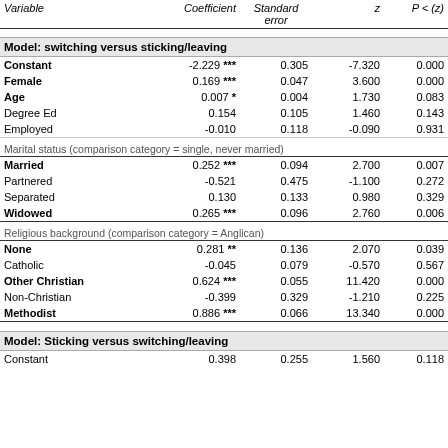| Variable | Coefficient | Standard error | z | P < (z) |
| --- | --- | --- | --- | --- |
| Model: switching versus sticking/leaving |  |  |  |  |
| Constant | -2.229 *** | 0.305 | -7.320 | 0.000 |
| Female | 0.169 *** | 0.047 | 3.600 | 0.000 |
| Age | 0.007 * | 0.004 | 1.730 | 0.083 |
| Degree Ed | 0.154 | 0.105 | 1.460 | 0.143 |
| Employed | -0.010 | 0.118 | -0.090 | 0.931 |
| Marital status (comparison category = single, never married) |  |  |  |  |
| Married | 0.252 *** | 0.094 | 2.700 | 0.007 |
| Partnered | -0.521 | 0.475 | -1.100 | 0.272 |
| Separated | 0.130 | 0.133 | 0.980 | 0.329 |
| Widowed | 0.265 *** | 0.096 | 2.760 | 0.006 |
| Religious background (comparison category = Anglican) |  |  |  |  |
| None | 0.281 ** | 0.136 | 2.070 | 0.039 |
| Catholic | -0.045 | 0.079 | -0.570 | 0.567 |
| Other Christian | 0.624 *** | 0.055 | 11.420 | 0.000 |
| Non-Christian | -0.399 | 0.329 | -1.210 | 0.225 |
| Methodist | 0.886 *** | 0.066 | 13.340 | 0.000 |
| Model: Sticking versus switching/leaving |  |  |  |  |
| Constant | 0.398 | 0.255 | 1.560 | 0.118 |